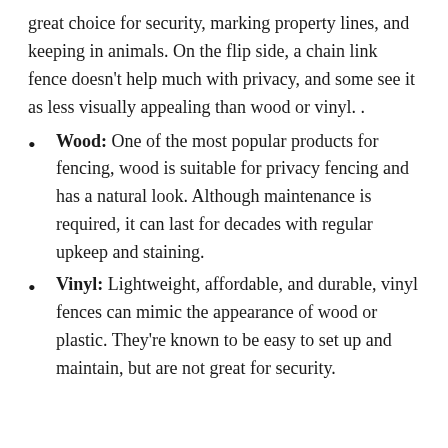great choice for security, marking property lines, and keeping in animals. On the flip side, a chain link fence doesn't help much with privacy, and some see it as less visually appealing than wood or vinyl. .
Wood: One of the most popular products for fencing, wood is suitable for privacy fencing and has a natural look. Although maintenance is required, it can last for decades with regular upkeep and staining.
Vinyl: Lightweight, affordable, and durable, vinyl fences can mimic the appearance of wood or plastic. They're known to be easy to set up and maintain, but are not great for security.